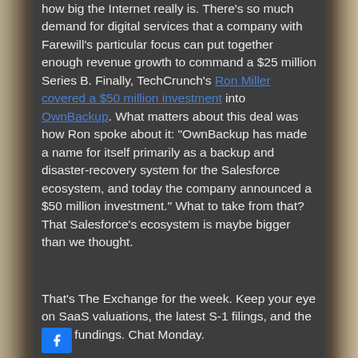how big the Internet really is. There's so much demand for digital services that a company with Farewill's particular focus can put together enough revenue growth to command a $25 million Series B. Finally, TechCrunch's Ron Miller covered a $50 million investment into OwnBackup. What matters about this deal was how Ron spoke about it: "OwnBackup has made a name for itself primarily as a backup and disaster-recovery system for the Salesforce ecosystem, and today the company announced a $50 million investment." What to take from that? That Salesforce's ecosystem is maybe bigger than we thought.
That's The Exchange for the week. Keep your eye on SaaS valuations, the latest S-1 filings, and the latest fundings. Chat Monday.